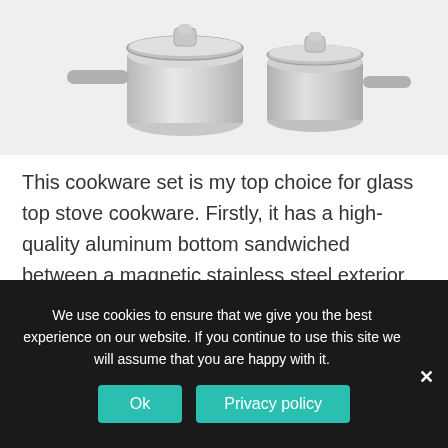[Figure (photo): Partial top view of stainless steel cookware set with glass lids, showing two pots/saucepans on a light gray background.]
This cookware set is my top choice for glass top stove cookware. Firstly, it has a high-quality aluminum bottom sandwiched between a magnetic stainless steel exterior, and an 18/10 food grade stainless steel cooking surface. This allows for excellent heat conductivity, magnetic properties, food safety and longevity.
We use cookies to ensure that we give you the best experience on our website. If you continue to use this site we will assume that you are happy with it.